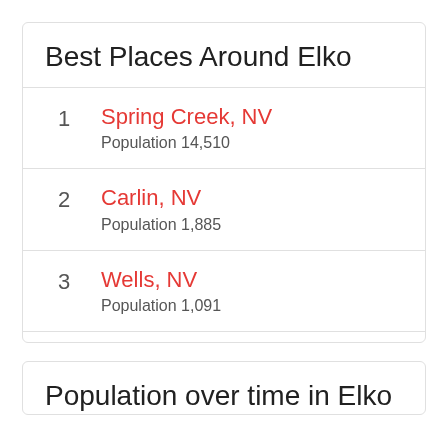Best Places Around Elko
1  Spring Creek, NV  Population 14,510
2  Carlin, NV  Population 1,885
3  Wells, NV  Population 1,091
Population over time in Elko